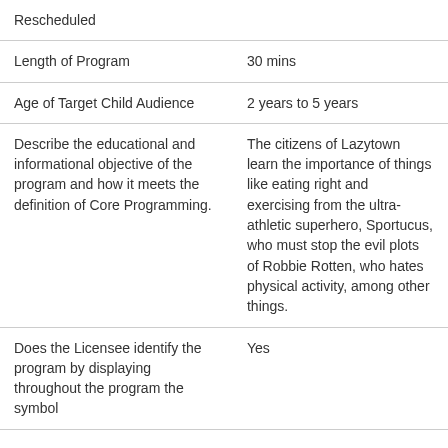| Rescheduled |  |
| Length of Program | 30 mins |
| Age of Target Child Audience | 2 years to 5 years |
| Describe the educational and informational objective of the program and how it meets the definition of Core Programming. | The citizens of Lazytown learn the importance of things like eating right and exercising from the ultra-athletic superhero, Sportucus, who must stop the evil plots of Robbie Rotten, who hates physical activity, among other things. |
| Does the Licensee identify the program by displaying throughout the program the symbol | Yes |